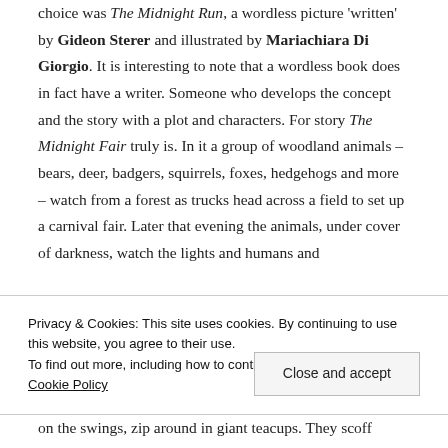choice was The Midnight Run, a wordless picture 'written' by Gideon Sterer and illustrated by Mariachiara Di Giorgio. It is interesting to note that a wordless book does in fact have a writer. Someone who develops the concept and the story with a plot and characters. For story The Midnight Fair truly is. In it a group of woodland animals – bears, deer, badgers, squirrels, foxes, hedgehogs and more – watch from a forest as trucks head across a field to set up a carnival fair. Later that evening the animals, under cover of darkness, watch the lights and humans and
Privacy & Cookies: This site uses cookies. By continuing to use this website, you agree to their use. To find out more, including how to control cookies, see here: Cookie Policy
Close and accept
on the swings, zip around in giant teacups. They scoff